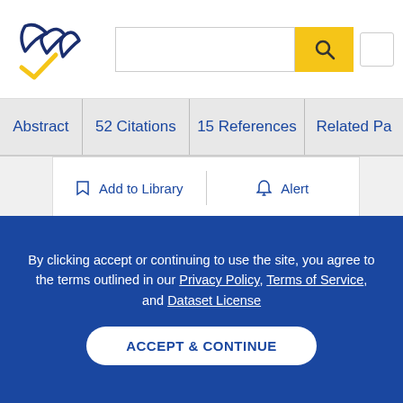[Figure (logo): Semantic Scholar logo - stylized book pages in navy blue with gold checkmark]
Abstract | 52 Citations | 15 References | Related Pa...
Add to Library | Alert
Brain death. I. A status report of medical and ethical considerations.
F. Veith, J. Fein, M. Tendler, R. Veatch, M. Kleiman, G. Kalkines
By clicking accept or continuing to use the site, you agree to the terms outlined in our Privacy Policy, Terms of Service, and Dataset License
ACCEPT & CONTINUE